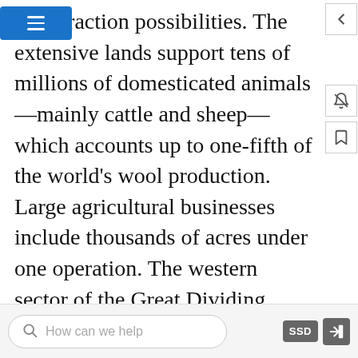ce extraction possibilities. The extensive lands support tens of millions of domesticated animals—mainly cattle and sheep—which accounts up to one-fifth of the world's wool production. Large agricultural businesses include thousands of acres under one operation. The western sector of the Great Dividing Range in New South Wales is an excellent region for commercial grain operations. The coastal region in Queensland, since it is warmer and receives more rainfall, is good for sugarcane and similar crops. Sheep and cattle ranches are common in central Queensland and Western Australia. Various regions of southern Australia are excellent for grape and fruit production. Australian wine production has risen to compete with the US and European markets. Only the